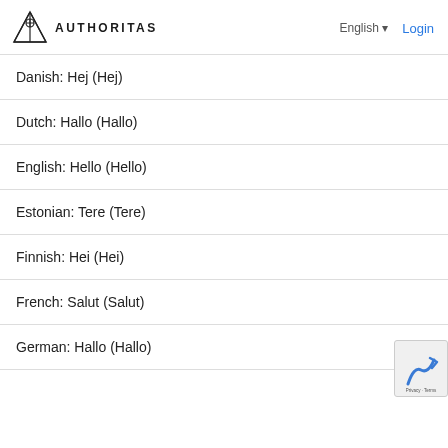AUTHORITAS | English | Login
Danish: Hej (Hej)
Dutch: Hallo (Hallo)
English: Hello (Hello)
Estonian: Tere (Tere)
Finnish: Hei (Hei)
French: Salut (Salut)
German: Hallo (Hallo)